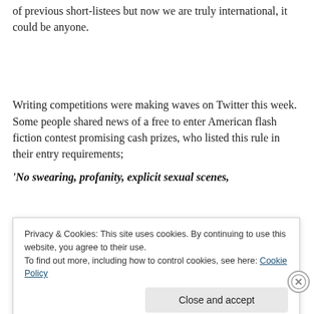of previous short-listees but now we are truly international, it could be anyone.
Writing competitions were making waves on Twitter this week. Some people shared news of a free to enter American flash fiction contest promising cash prizes, who listed this rule in their entry requirements;
'No swearing, profanity, explicit sexual scenes,
Privacy & Cookies: This site uses cookies. By continuing to use this website, you agree to their use.
To find out more, including how to control cookies, see here: Cookie Policy
Close and accept